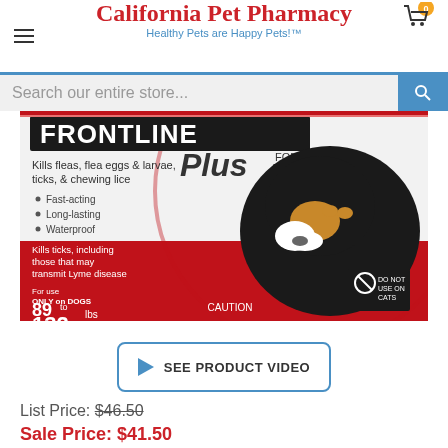California Pet Pharmacy — Healthy Pets are Happy Pets!™
Search our entire store...
[Figure (photo): Frontline Plus for Dogs product box showing a Bernese Mountain Dog. Text on box: Kills fleas, flea eggs & larvae, ticks, & chewing lice. Plus for DOGS. Fast-acting, Long-lasting, Waterproof. Kills ticks, including those that may transmit Lyme disease. For use ONLY on DOGS 89 to 132 lbs. DO NOT USE ON CATS. CAUTION.]
SEE PRODUCT VIDEO
List Price: $46.50
Sale Price: $41.50